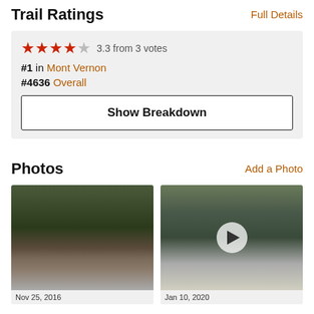Trail Ratings
Full Details
3.3 from 3 votes
#1 in Mont Vernon
#4636 Overall
Show Breakdown
Photos
Add a Photo
[Figure (photo): Waterfall flowing over mossy rocks]
[Figure (photo): Forest scene in winter with play button overlay indicating a video]
Nov 25, 2016
Jan 10, 2020